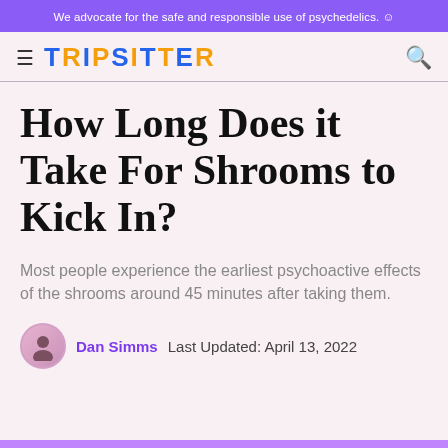We advocate for the safe and responsible use of psychedelics. 😊
TRIPSITTER
How Long Does it Take For Shrooms to Kick In?
Most people experience the earliest psychoactive effects of the shrooms around 45 minutes after taking them.
Dan Simms   Last Updated: April 13, 2022